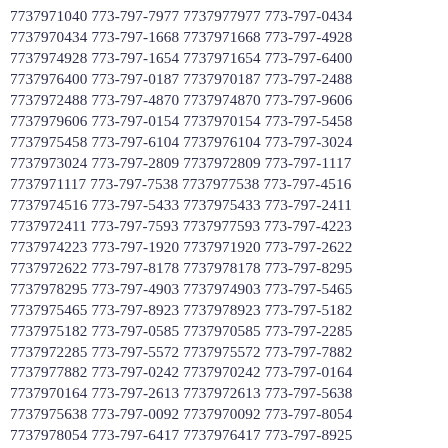7737971040 773-797-7977 7737977977 773-797-0434 7737970434 773-797-1668 7737971668 773-797-4928 7737974928 773-797-1654 7737971654 773-797-6400 7737976400 773-797-0187 7737970187 773-797-2488 7737972488 773-797-4870 7737974870 773-797-9606 7737979606 773-797-0154 7737970154 773-797-5458 7737975458 773-797-6104 7737976104 773-797-3024 7737973024 773-797-2809 7737972809 773-797-1117 7737971117 773-797-7538 7737977538 773-797-4516 7737974516 773-797-5433 7737975433 773-797-2411 7737972411 773-797-7593 7737977593 773-797-4223 7737974223 773-797-1920 7737971920 773-797-2622 7737972622 773-797-8178 7737978178 773-797-8295 7737978295 773-797-4903 7737974903 773-797-5465 7737975465 773-797-8923 7737978923 773-797-5182 7737975182 773-797-0585 7737970585 773-797-2285 7737972285 773-797-5572 7737975572 773-797-7882 7737977882 773-797-0242 7737970242 773-797-0164 7737970164 773-797-2613 7737972613 773-797-5638 7737975638 773-797-0092 7737970092 773-797-8054 7737978054 773-797-6417 7737976417 773-797-8925 7737978925 773-797-5299 7737975299 773-797-9407 7737979407 773-797-6136 7737976136 773-797-6555 7737976555 773-797-6777 7737976777 773-797-4975 7737974975 773-797-6886 7737976886 773-797-9512